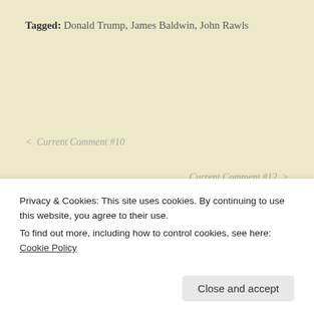Tagged: Donald Trump, James Baldwin, John Rawls
< Current Comment #10
Current Comment #12 >
Privacy & Cookies: This site uses cookies. By continuing to use this website, you agree to their use.
To find out more, including how to control cookies, see here: Cookie Policy
Close and accept